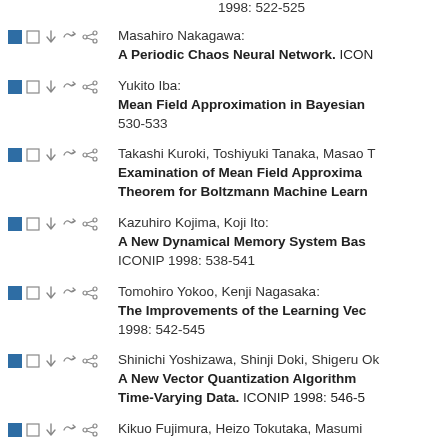1998: 522-525
Masahiro Nakagawa: A Periodic Chaos Neural Network. ICONIP
Yukito Iba: Mean Field Approximation in Bayesian... 530-533
Takashi Kuroki, Toshiyuki Tanaka, Masao T... Examination of Mean Field Approxima... Theorem for Boltzmann Machine Learn...
Kazuhiro Kojima, Koji Ito: A New Dynamical Memory System Bas... ICONIP 1998: 538-541
Tomohiro Yokoo, Kenji Nagasaka: The Improvements of the Learning Vec... 1998: 542-545
Shinichi Yoshizawa, Shinji Doki, Shigeru Ok... A New Vector Quantization Algorithm... Time-Varying Data. ICONIP 1998: 546-5...
Kikuo Fujimura, Heizo Tokutaka, Masumi...